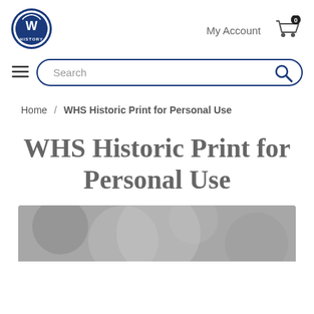[Figure (logo): WHS History logo - circular badge with W and History text in blue]
My Account
[Figure (other): Shopping cart icon with 0 badge]
[Figure (other): Hamburger menu icon (three horizontal lines)]
[Figure (other): Search bar with magnifying glass icon]
Home / WHS Historic Print for Personal Use
WHS Historic Print for Personal Use
[Figure (photo): Blurred black and white background photo, partially visible at bottom of page]